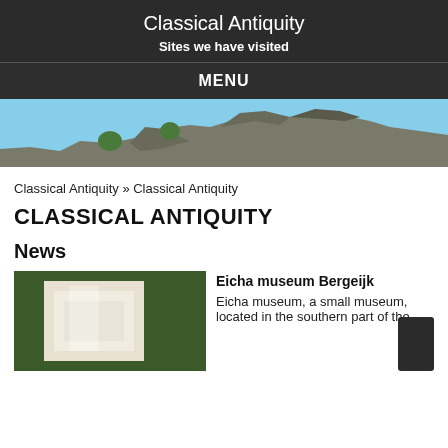Classical Antiquity
Sites we have visited
MENU
[Figure (photo): Panoramic photo of ancient stone ruins against a blue sky]
Classical Antiquity » Classical Antiquity
CLASSICAL ANTIQUITY
News
[Figure (photo): Thumbnail image of a museum interior]
Eicha museum Bergeijk
Eicha museum, a small museum, located in the southern part of the